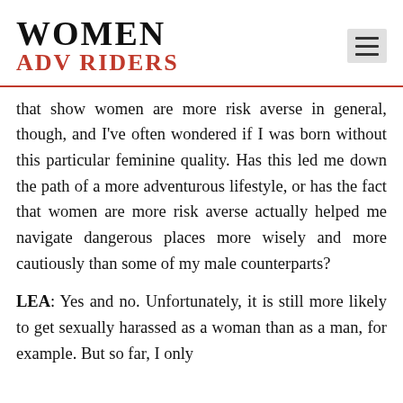WOMEN ADV RIDERS
that show women are more risk averse in general, though, and I've often wondered if I was born without this particular feminine quality. Has this led me down the path of a more adventurous lifestyle, or has the fact that women are more risk averse actually helped me navigate dangerous places more wisely and more cautiously than some of my male counterparts?
LEA: Yes and no. Unfortunately, it is still more likely to get sexually harassed as a woman than as a man, for example. But so far, I only